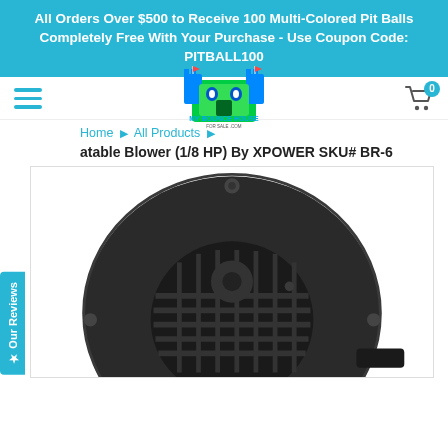All Orders Over $500 to Receive 100 Multi-Colored Pit Balls Completely Free With Your Purchase - Use Coupon Code: PITBALL100
[Figure (logo): My Bounce House For Sale .com logo with colorful castle graphic]
Home ▶ All Products ▶
atable Blower (1/8 HP) By XPOWER SKU# BR-6
[Figure (photo): Close-up photo of a dark grey/black inflatable blower fan unit (XPOWER BR-6, 1/8 HP), showing the motor housing and fan grill from the front]